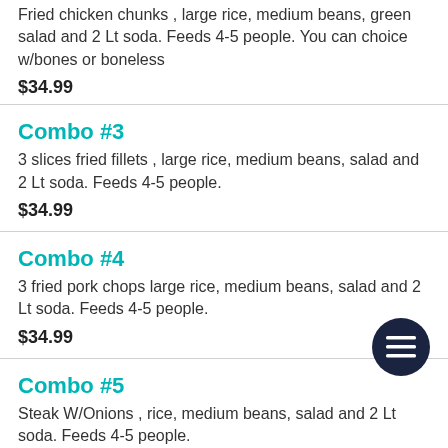Fried chicken chunks , large rice, medium beans, green salad and 2 Lt soda. Feeds 4-5 people. You can choice w/bones or boneless
$34.99
Combo #3
3 slices fried fillets , large rice, medium beans, salad and 2 Lt soda. Feeds 4-5 people.
$34.99
Combo #4
3 fried pork chops large rice, medium beans, salad and 2 Lt soda. Feeds 4-5 people.
$34.99
Combo #5
Steak W/Onions , rice, medium beans, salad and 2 Lt soda. Feeds 4-5 people.
$34.99